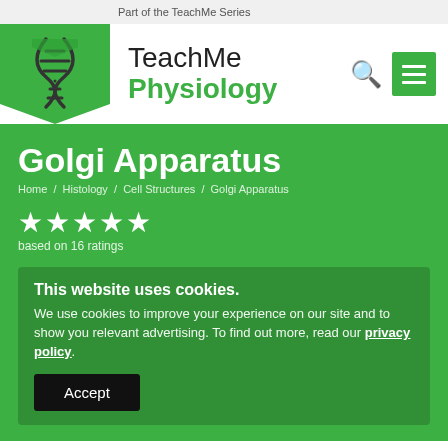Part of the TeachMe Series
[Figure (logo): TeachMe Physiology logo with DNA double helix on green background]
Golgi Apparatus
Home / Histology / Cell Structures / Golgi Apparatus
★★★★★ based on 16 ratings
This website uses cookies.
We use cookies to improve your experience on our site and to show you relevant advertising. To find out more, read our privacy policy.
Accept